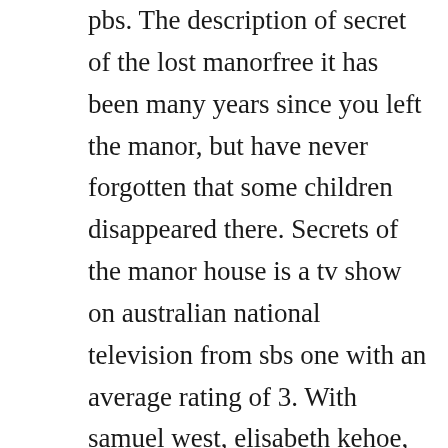pbs. The description of secret of the lost manorfree it has been many years since you left the manor, but have never forgotten that some children disappeared there. Secrets of the manor house is a tv show on australian national television from sbs one with an average rating of 3. With samuel west, elisabeth kehoe, geoffrey dymond, mary gledhill.
Watch secrets of the manor house full movie in hd visit find out what went on behind the stately walls of the british. Secret of the lost manor free to download. Secret